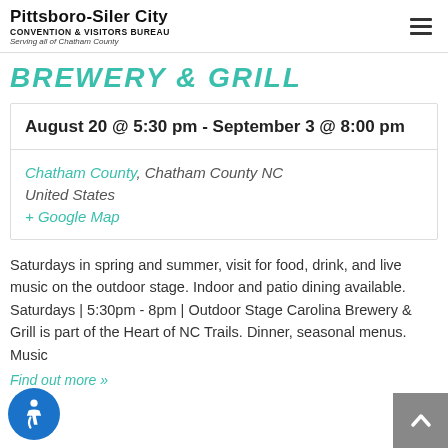Pittsboro-Siler City Convention & Visitors Bureau — Serving all of Chatham County
BREWERY & GRILL
August 20 @ 5:30 pm - September 3 @ 8:00 pm
Chatham County, Chatham County NC United States + Google Map
Saturdays in spring and summer, visit for food, drink, and live music on the outdoor stage. Indoor and patio dining available. Saturdays | 5:30pm - 8pm | Outdoor Stage Carolina Brewery & Grill is part of the Heart of NC Trails. Dinner, seasonal menus. Music
Find out more »